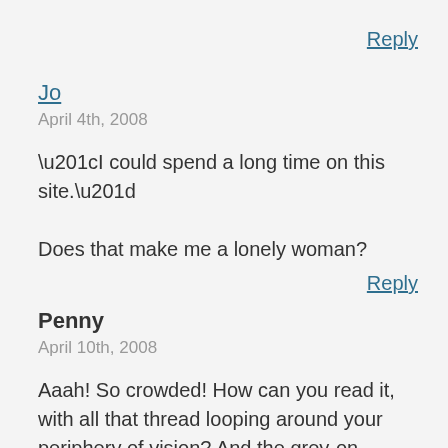Reply
Jo
April 4th, 2008
“I could spend a long time on this site.”

Does that make me a lonely woman?
Reply
Penny
April 10th, 2008
Aaah! So crowded! How can you read it, with all that thread looping around your periphery of vision? And the grey-on-black?